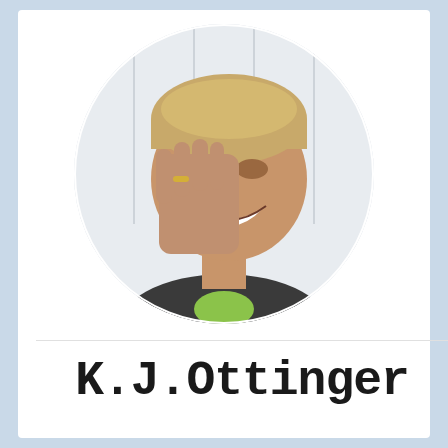[Figure (photo): Circular profile photo of a smiling person with short blonde hair, resting their hand against their face, wearing a dark jacket with a green collar, with a white paneled wall background.]
K.J.Ottinger